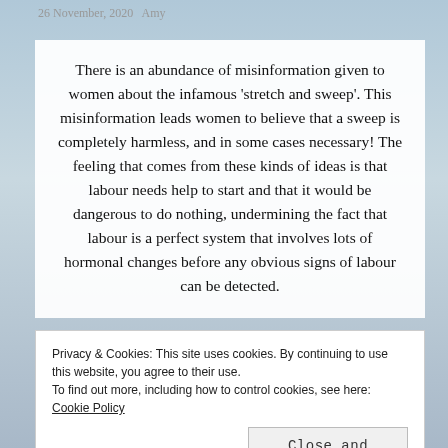26 November, 2020   Amy
There is an abundance of misinformation given to women about the infamous 'stretch and sweep'. This misinformation leads women to believe that a sweep is completely harmless, and in some cases necessary! The feeling that comes from these kinds of ideas is that labour needs help to start and that it would be dangerous to do nothing, undermining the fact that labour is a perfect system that involves lots of hormonal changes before any obvious signs of labour can be detected.
Privacy & Cookies: This site uses cookies. By continuing to use this website, you agree to their use.
To find out more, including how to control cookies, see here: Cookie Policy
Close and accept